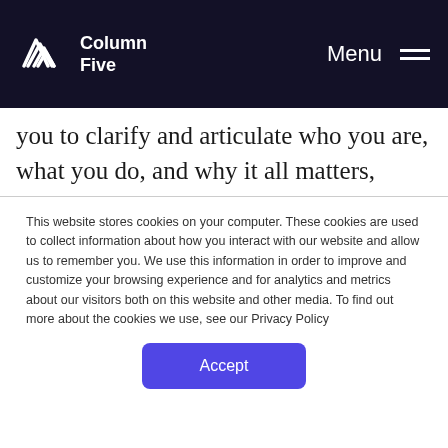Column Five | Menu
you to clarify and articulate who you are, what you do, and why it all matters, giving you the blueprint you need to build a healthy brand.
This work may not be easy, but it is necessary. Like Rome, a strong brand can't be built in a day.
This website stores cookies on your computer. These cookies are used to collect information about how you interact with our website and allow us to remember you. We use this information in order to improve and customize your browsing experience and for analytics and metrics about our visitors both on this website and other media. To find out more about the cookies we use, see our Privacy Policy
Accept